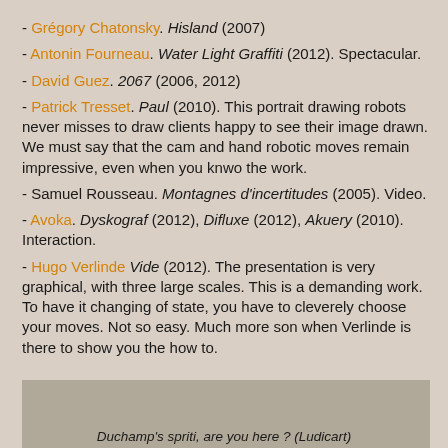- Grégory Chatonsky. Hisland (2007)
- Antonin Fourneau. Water Light Graffiti (2012). Spectacular.
- David Guez. 2067 (2006, 2012)
- Patrick Tresset. Paul (2010). This portrait drawing robots never misses to draw clients happy to see their image drawn. We must say that the cam and hand robotic moves remain impressive, even when you knwo the work.
- Samuel Rousseau. Montagnes d'incertitudes (2005). Video.
- Avoka. Dyskograf (2012), Difluxe (2012), Akuery (2010). Interaction.
- Hugo Verlinde Vide (2012). The presentation is very graphical, with three large scales. This is a demanding work. To have it changing of state, you have to cleverely choose your moves. Not so easy. Much more son when Verlinde is there to show you the how to.
[Figure (photo): Grey/beige rectangular image block at the bottom of the page]
Duchamp's spriti, are you here ? (Ludicart)